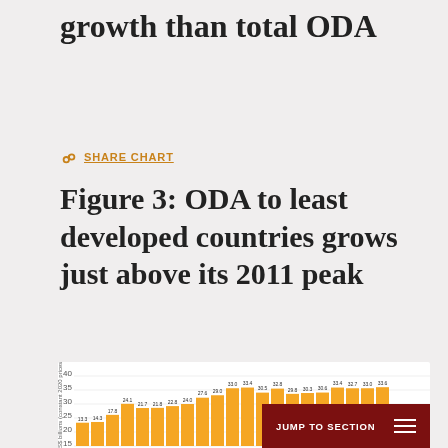growth than total ODA
SHARE CHART
Figure 3: ODA to least developed countries grows just above its 2011 peak
[Figure (bar-chart): ODA to least developed countries]